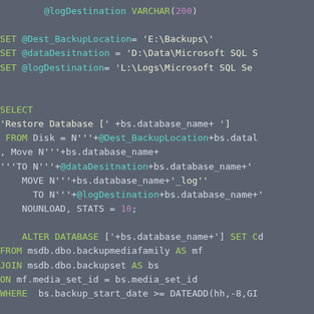[Figure (screenshot): SQL code snippet on dark grey background showing variable declarations, SELECT statement for database restore script, and ALTER DATABASE and FROM/JOIN/ON/WHERE clauses. Keywords in green, function/variable names in cyan, numbers in purple, string literals in light yellow.]